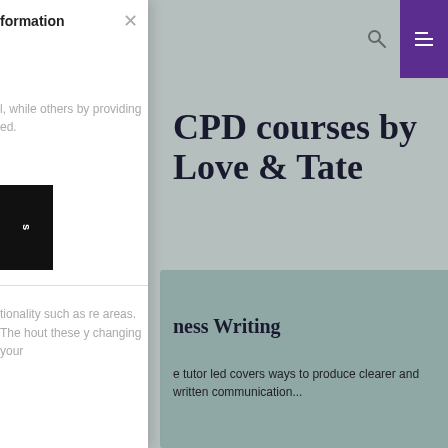[Figure (screenshot): Website screenshot showing CPD courses page by Love & Tate, with a navigation bar featuring a purple hamburger menu button and search icon, a grey hero section with large heading text, and a teal/sage coloured course card at the bottom.]
formation
l, while others by providing ed.
s
CPD courses by Love & Tate
ness Writing
e tutor led covers ways to produce clearer and written communication...
tionality such as re areas. The hout these y changing your